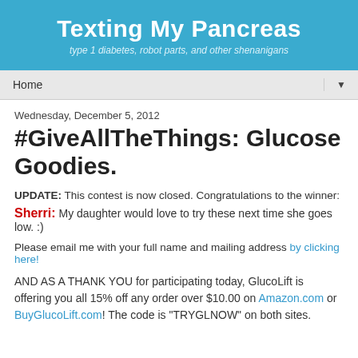[Figure (screenshot): Blog header banner with light blue background showing 'Texting My Pancreas' blog title and subtitle 'type 1 diabetes, robot parts, and other shenanigans']
Home
Wednesday, December 5, 2012
#GiveAllTheThings: Glucose Goodies.
UPDATE: This contest is now closed. Congratulations to the winner:
Sherri: My daughter would love to try these next time she goes low. :)
Please email me with your full name and mailing address by clicking here!
AND AS A THANK YOU for participating today, GlucoLift is offering you all 15% off any order over $10.00 on Amazon.com or BuyGlucoLift.com! The code is "TRYGLNOW" on both sites.